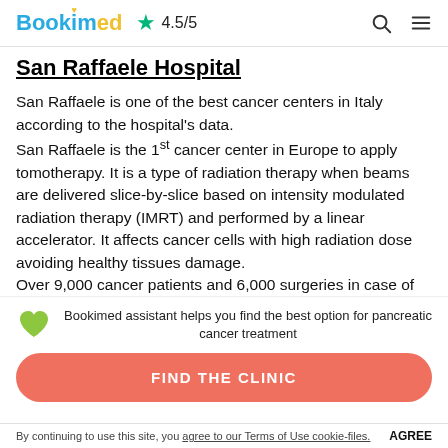Bookimed ★ 4.5/5
San Raffaele Hospital
San Raffaele is one of the best cancer centers in Italy according to the hospital's data. San Raffaele is the 1st cancer center in Europe to apply tomotherapy. It is a type of radiation therapy when beams are delivered slice-by-slice based on intensity modulated radiation therapy (IMRT) and performed by a linear accelerator. It affects cancer cells with high radiation dose avoiding healthy tissues damage. Over 9,000 cancer patients and 6,000 surgeries in case of
Bookimed assistant helps you find the best option for pancreatic cancer treatment
FIND THE CLINIC
By continuing to use this site, you agree to our Terms of Use cookie-files. AGREE